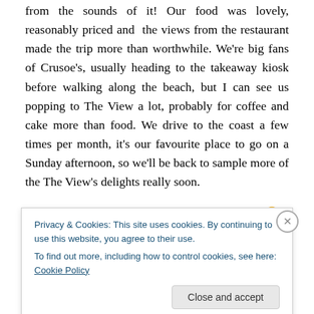from the sounds of it! Our food was lovely, reasonably priced and the views from the restaurant made the trip more than worthwhile. We're big fans of Crusoe's, usually heading to the takeaway kiosk before walking along the beach, but I can see us popping to The View a lot, probably for coffee and cake more than food. We drive to the coast a few times per month, it's our favourite place to go on a Sunday afternoon, so we'll be back to sample more of the The View's delights really soon.

Let me know what you think if/when you visit 🙂 I can really recommend their muffins!
Privacy & Cookies: This site uses cookies. By continuing to use this website, you agree to their use.
To find out more, including how to control cookies, see here: Cookie Policy
Close and accept